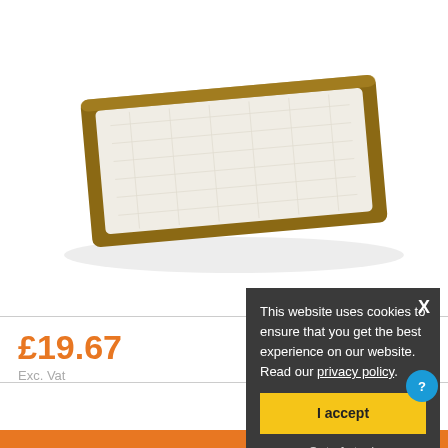[Figure (photo): A rectangular ceramic tray/plate with a white textured center and golden-brown rim, shown at an angle on white background]
£19.67
Exc. Vat
706
This website uses cookies to ensure that you get the best experience on our website. Read our privacy policy.
I accept
Out of stock